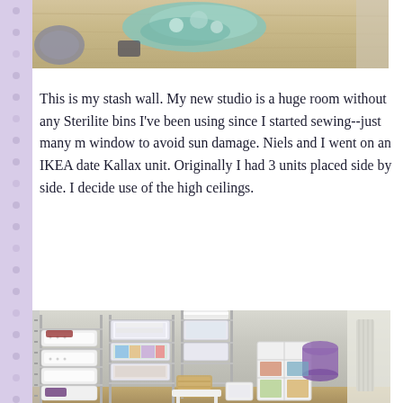[Figure (photo): Top cropped photo showing items on a wooden surface, partially visible at top of page]
This is my stash wall. My new studio is a huge room without any Sterilite bins I've been using since I started sewing--just many more window to avoid sun damage. Niels and I went on an IKEA date Kallax unit. Originally I had 3 units placed side by side. I decided use of the high ceilings.
[Figure (photo): Photo of a fabric storage room with white laundry baskets stacked on metal shelving, clear plastic bins filled with fabric, a ladder on the left, and a white cubby shelf unit on the right with a purple bucket]